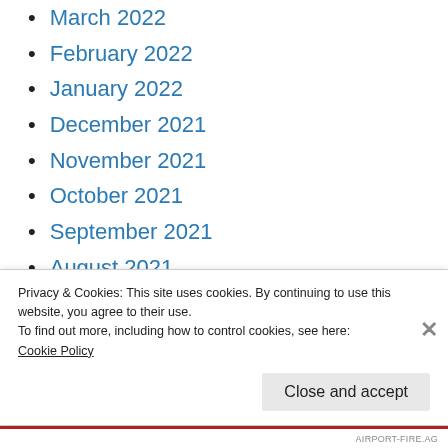March 2022
February 2022
January 2022
December 2021
November 2021
October 2021
September 2021
August 2021
July 2021
June 2021
May 2021
Privacy & Cookies: This site uses cookies. By continuing to use this website, you agree to their use.
To find out more, including how to control cookies, see here:
Cookie Policy
Close and accept